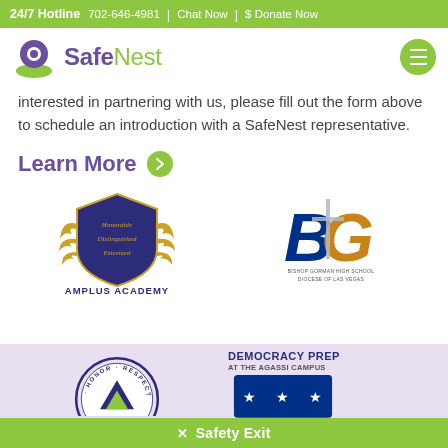24/7 Hotline  702-646-4981 | Chat Now | $ Donate Now
[Figure (logo): SafeNest logo with purple and green circular bird icon and green text 'SafeNest']
interested in partnering with us, please fill out the form above to schedule an introduction with a SafeNest representative.
Learn More
[Figure (logo): Amplus Academy logo: gold crest shield with 'Honorable Distinguished Esteemed' text, and 'AMPLUS ACADEMY' below in purple]
[Figure (logo): Bishop Gorman High School Diocese of Las Vegas logo: large BG letters in blue and gold with a cross]
[Figure (logo): Partial logo with circular badge showing 'HONOR RESPECT LOY...' text]
[Figure (logo): Democracy Prep at the Agassi Campus logo: bold text header and blue badge with star design]
✕  Safety Exit